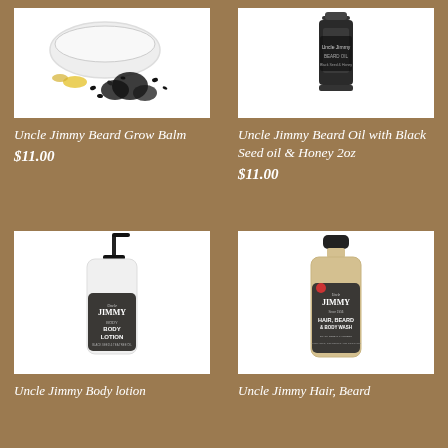[Figure (photo): Uncle Jimmy Beard Grow Balm product image - black seeds spilled from a white bowl with yellow oil droplets on white background]
Uncle Jimmy Beard Grow Balm
$11.00
[Figure (photo): Uncle Jimmy Beard Oil with Black Seed oil & Honey 2oz - dark bottle with label on white background]
Uncle Jimmy Beard Oil with Black Seed oil & Honey 2oz
$11.00
[Figure (photo): Uncle Jimmy Body Lotion - white pump bottle with dark label on white background]
Uncle Jimmy Body lotion
[Figure (photo): Uncle Jimmy Hair, Beard & Body Wash - clear/gold bottle with dark label on white background]
Uncle Jimmy Hair, Beard